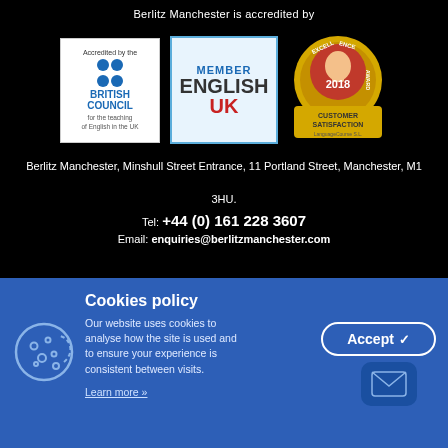Berlitz Manchester is accredited by
[Figure (logo): British Council accreditation logo — white box with blue dots and text 'Accredited by the BRITISH COUNCIL for the teaching of English in the UK']
[Figure (logo): English UK Member logo — light blue box with 'MEMBER' in blue and 'ENGLISH UK' in dark and red text]
[Figure (logo): Excellence Award 2018 Customer Satisfaction badge — gold circular badge with thumbs up icon]
Berlitz Manchester, Minshull Street Entrance, 11 Portland Street, Manchester, M1 3HU.
Tel: +44 (0) 161 228 3607
Email: enquiries@berlitzmanchester.com
Cookies policy
Our website uses cookies to analyse how the site is used and to ensure your experience is consistent between visits.
Learn more »